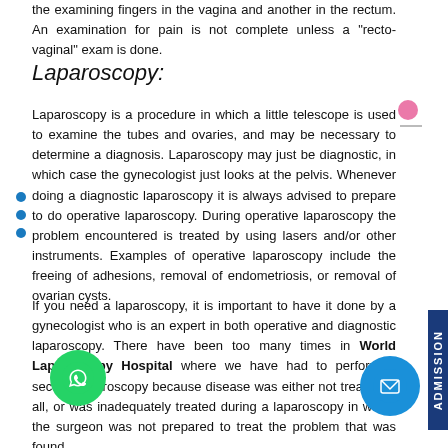the examining fingers in the vagina and another in the rectum. An examination for pain is not complete unless a "recto-vaginal" exam is done.
Laparoscopy:
Laparoscopy is a procedure in which a little telescope is used to examine the tubes and ovaries, and may be necessary to determine a diagnosis. Laparoscopy may just be diagnostic, in which case the gynecologist just looks at the pelvis. Whenever doing a diagnostic laparoscopy it is always advised to prepare to do operative laparoscopy. During operative laparoscopy the problem encountered is treated by using lasers and/or other instruments. Examples of operative laparoscopy include the freeing of adhesions, removal of endometriosis, or removal of ovarian cysts.
If you need a laparoscopy, it is important to have it done by a gynecologist who is an expert in both operative and diagnostic laparoscopy. There have been too many times in World Laparoscopy Hospital where we have had to perform a second laparoscopy because disease was either not treated at all, or was inadequately treated during a laparoscopy in which the surgeon was not prepared to treat the problem that was found.